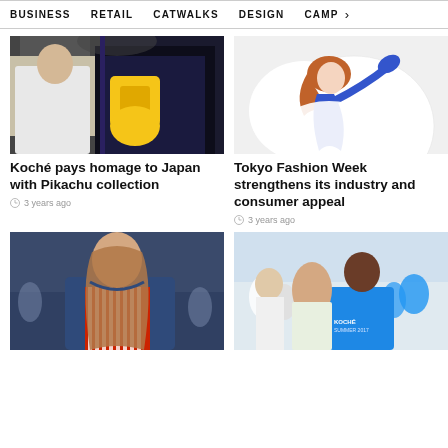BUSINESS   RETAIL   CATWALKS   DESIGN   CAMP >
[Figure (photo): Two women, one in white blazer and one in yellow Pikachu print outfit, fashion event photo]
Koché pays homage to Japan with Pikachu collection
3 years ago
[Figure (illustration): Illustrated woman in blue dress floating in white space, Tokyo Fashion Week artwork]
Tokyo Fashion Week strengthens its industry and consumer appeal
3 years ago
[Figure (photo): Female model in red striped shirt and denim jacket on runway]
[Figure (photo): Crowd of people with man in KOCHÉ t-shirt in foreground]